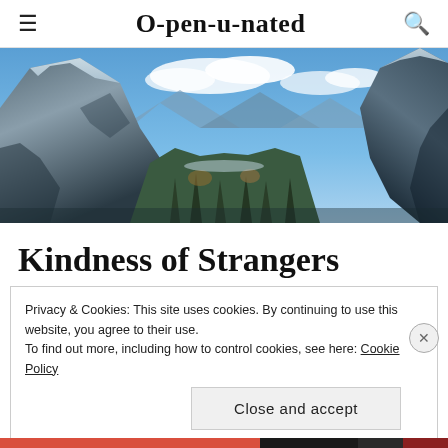O-pen-u-nated
[Figure (photo): Panoramic mountain landscape with snow-capped peaks, blue sky with clouds, and a valley between rocky mountains]
Kindness of Strangers
Privacy & Cookies: This site uses cookies. By continuing to use this website, you agree to their use.
To find out more, including how to control cookies, see here: Cookie Policy
Close and accept